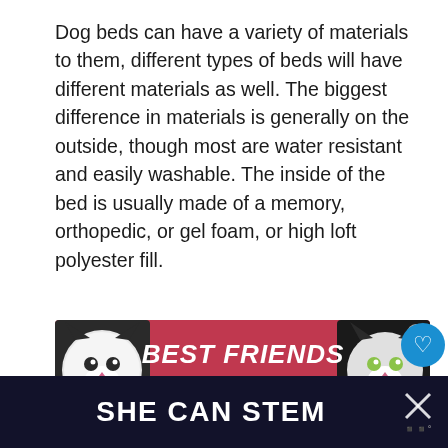Dog beds can have a variety of materials to them, different types of beds will have different materials as well. The biggest difference in materials is generally on the outside, though most are water resistant and easily washable. The inside of the bed is usually made of a memory, orthopedic, or gel foam, or high loft polyester fill.
[Figure (illustration): Advertisement banner with pink/red background showing two black-and-white cat faces on either side with text 'BEST FRIENDS FOREVER' in white bold italic text with heart symbols]
[Figure (screenshot): Social media UI elements: blue heart/like button, number 1, and share button]
[Figure (screenshot): What's Next widget showing a dog photo thumbnail with text 'WHAT'S NEXT → 5 Best Dog Harnesses f...']
[Figure (advertisement): Dark footer advertisement banner with text 'SHE CAN STEM' in white bold text and an X close button]